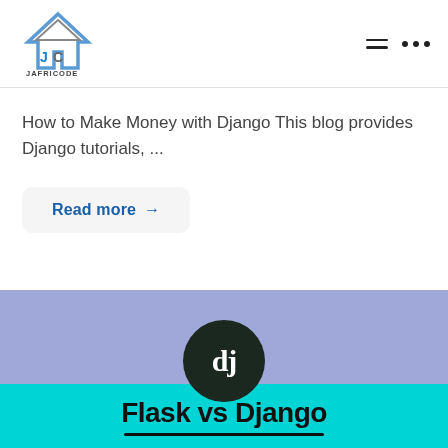[Figure (logo): JafriCode logo - house/triangle shape with JC letters, JAFRICODE text below]
How to Make Money with Django This blog provides Django tutorials, ...
Read more →
[Figure (illustration): Flask vs Django graphic: purple/lavender background with Django 'dj' circular logo on top, cyan/turquoise banner with bold text 'Flask vs Django' and underline]